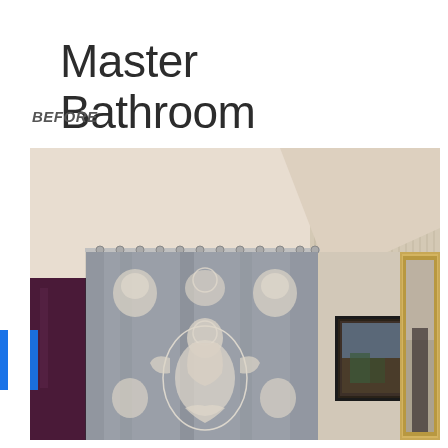Master Bathroom
BEFORE
[Figure (photo): A bathroom interior 'before' photo showing a shower area with a decorative gray and white lace-patterned shower curtain on a rod, beige/cream striped wallpaper, a dark garment hanging on the left, a framed picture on the wall to the right, a gold-framed mirror on the far right, and a ceiling light fixture. The ceiling is plain white/cream.]